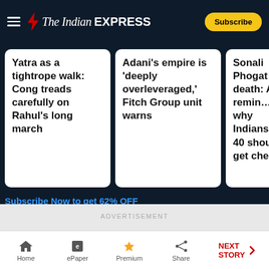The Indian Express
Yatra as a tightrope walk: Cong treads carefully on Rahul's long march
Adani's empire is 'deeply overleveraged,' Fitch Group unit warns
Sonali Phogat death: A reminder why Indians at 40 should get che...
Subscribe Now to get 62% OFF
ADVERTISEMENT
Home | ePaper | Premium | Share | NEXT STORY